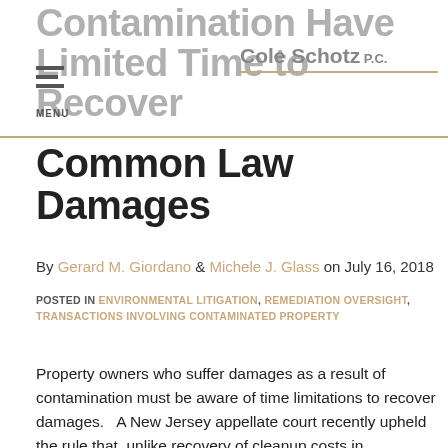Contamination Have Limited Time to Recover
Common Law Damages
By Gerard M. Giordano & Michele J. Glass on July 16, 2018
POSTED IN ENVIRONMENTAL LITIGATION, REMEDIATION OVERSIGHT, TRANSACTIONS INVOLVING CONTAMINATED PROPERTY
Property owners who suffer damages as a result of contamination must be aware of time limitations to recover damages.   A New Jersey appellate court recently upheld the rule that, unlike recovery of cleanup costs in contribution actions under the New Jersey Spill Compensation and Control Act, recovery of other damages under tort theories, such as lost sales, lost rental values and the like, remain subject to the six-year statute of limitations.